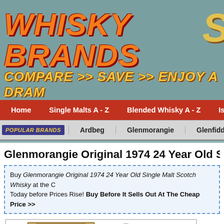[Figure (logo): Whisky Brands website logo with orange and yellow italic bold text on teal background, tagline: COMPARE >> SAVE >> ENJOY A DRAM]
Home | Single Malts A - Z | Blended Whisky A - Z | Islay Whisky
POPULAR BRANDS | Ardbeg | Glenmorangie | Glenfiddich | L
Glenmorangie Original 1974 24 Year Old Single Ma
Buy Glenmorangie Original 1974 24 Year Old Single Malt Scotch Whisky at the C Today before Prices Rise! Buy Before It Sells Out At The Cheap Price >>
[Figure (photo): Photo of Glenmorangie Original 1974 24 Year Old Single Malt Scotch Whisky bottle with wooden box packaging on white background]